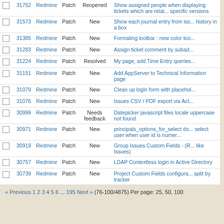|  | # | Project | Tracker | Status | Subject |
| --- | --- | --- | --- | --- | --- |
|  | 31752 | Redmine | Patch | Reopened | Show assigned people when displaying tickets which are related to specific versions |
|  | 31573 | Redmine | Patch | New | Show each journal entry from issue history in a box |
|  | 31385 | Redmine | Patch | New | Formating toolbar : new color too... |
|  | 31283 | Redmine | Patch | New | Assign ticket comment by subad... |
|  | 31224 | Redmine | Patch | Resolved | My page, add Time Entry queries... |
|  | 31151 | Redmine | Patch | New | Add AppServer to Technical Information page |
|  | 31079 | Redmine | Patch | New | Clean up login form with placehol... |
|  | 31076 | Redmine | Patch | New | Issues CSV / PDF export via Act... |
|  | 30999 | Redmine | Patch | Needs feedback | Datepicker javascript files locale uppercase not found |
|  | 30971 | Redmine | Patch | New | principals_options_for_select do... select user when user id is numer... |
|  | 30919 | Redmine | Patch | New | Group Issues Custom Fields - (R... like Issues) |
|  | 30757 | Redmine | Patch | New | LDAP Contextless login in Active Directory |
|  | 30739 | Redmine | Patch | New | Project Custom Fields configura... split by tracker |
« Previous 1 2 3 4 5 6 ... 195 Next » (76-100/4875) Per page: 25, 50, 100